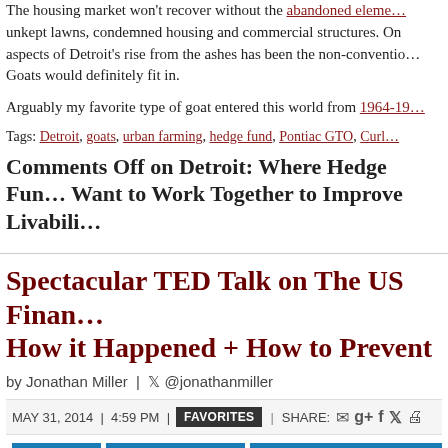The housing market won't recover without the abandoned elements: unkept lawns, condemned housing and commercial structures. One of the aspects of Detroit's rise from the ashes has been the non-conventional. Goats would definitely fit in.
Arguably my favorite type of goat entered this world from 1964-19…
Tags: Detroit, goats, urban farming, hedge fund, Pontiac GTO, Curl…
Comments Off on Detroit: Where Hedge Funds and Goats Want to Work Together to Improve Livability
Spectacular TED Talk on The US Financial Crisis: How it Happened + How to Prevent
by Jonathan Miller | @jonathanmiller
MAY 31, 2014 | 4:59 PM | FAVORITES | SHARE:
APPRAISING  BOOM BUBBLE BUST  CREDIT, FINANCE, MORTGAGE, RATES